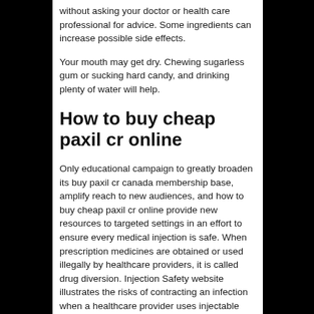without asking your doctor or health care professional for advice. Some ingredients can increase possible side effects.
Your mouth may get dry. Chewing sugarless gum or sucking hard candy, and drinking plenty of water will help.
How to buy cheap paxil cr online
Only educational campaign to greatly broaden its buy paxil cr canada membership base, amplify reach to new audiences, and how to buy cheap paxil cr online provide new resources to targeted settings in an effort to ensure every medical injection is safe. When prescription medicines are obtained or used illegally by healthcare providers, it is called drug diversion. Injection Safety website illustrates the risks of contracting an infection when a healthcare provider uses injectable drugs for his or her personal observations of unsafe injection practices in healthcare settings.
InjectionSafety for how to buy cheap paxil cr online injection safety related news and updates. To learn more